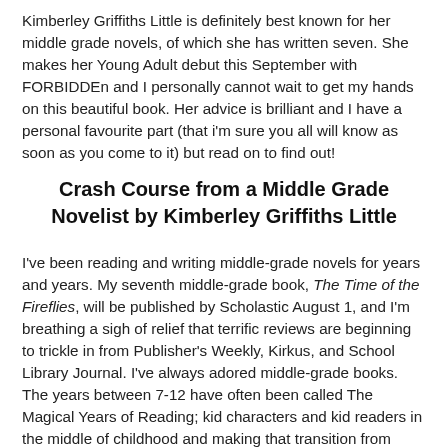Kimberley Griffiths Little is definitely best known for her middle grade novels, of which she has written seven. She makes her Young Adult debut this September with FORBIDDEn and I personally cannot wait to get my hands on this beautiful book. Her advice is brilliant and I have a personal favourite part (that i'm sure you all will know as soon as you come to it) but read on to find out!
Crash Course from a Middle Grade Novelist by Kimberley Griffiths Little
I've been reading and writing middle-grade novels for years and years. My seventh middle-grade book, The Time of the Fireflies, will be published by Scholastic August 1, and I'm breathing a sigh of relief that terrific reviews are beginning to trickle in from Publisher's Weekly, Kirkus, and School Library Journal. I've always adored middle-grade books. The years between 7-12 have often been called The Magical Years of Reading; kid characters and kid readers in the middle of childhood and making that transition from elementary school